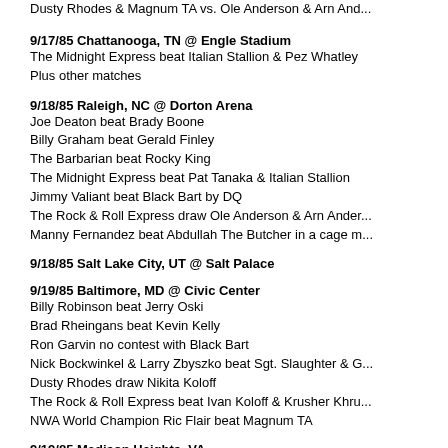Dusty Rhodes & Magnum TA vs. Ole Anderson & Arn And...
9/17/85 Chattanooga, TN @ Engle Stadium
The Midnight Express beat Italian Stallion & Pez Whatley
Plus other matches
9/18/85 Raleigh, NC @ Dorton Arena
Joe Deaton beat Brady Boone
Billy Graham beat Gerald Finley
The Barbarian beat Rocky King
The Midnight Express beat Pat Tanaka & Italian Stallion
Jimmy Valiant beat Black Bart by DQ
The Rock & Roll Express draw Ole Anderson & Arn Ander...
Manny Fernandez beat Abdullah The Butcher in a cage m...
9/18/85 Salt Lake City, UT @ Salt Palace
9/19/85 Baltimore, MD @ Civic Center
Billy Robinson beat Jerry Oski
Brad Rheingans beat Kevin Kelly
Ron Garvin no contest with Black Bart
Nick Bockwinkel & Larry Zbyszko beat Sgt. Slaughter & G...
Dusty Rhodes draw Nikita Koloff
The Rock & Roll Express beat Ivan Koloff & Krusher Khru...
NWA World Champion Ric Flair beat Magnum TA
9/19/85 Madison Heights, VA
The Midnight Express beat Starship Eagle & Denny Brow...
Plus other matches
9/20/85 Ft. Wayne, IN @ Coliseum
Brad Rheingans draw Steve Regal
Bill Irwin & Scott Irwin beat Calypso Jim & Bobo Brazil
Billy Graham beat Pez Whatley
Larry Zbyszko beat Buck Zumhofe
Sgt. Slaughter beat Boris Zhukov by DQ
Magnum TA draw Tully Blanchard
Dusty Rhodes beat Ivan Koloff